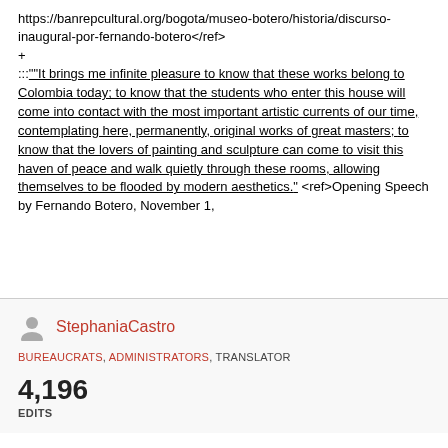https://banrepcultural.org/bogota/museo-botero/historia/discurso-inaugural-por-fernando-botero</ref>
+
:::""It brings me infinite pleasure to know that these works belong to Colombia today; to know that the students who enter this house will come into contact with the most important artistic currents of our time, contemplating here, permanently, original works of great masters; to know that the lovers of painting and sculpture can come to visit this haven of peace and walk quietly through these rooms, allowing themselves to be flooded by modern aesthetics."<ref>Opening Speech by Fernando Botero, November 1,
StephaniaCastro
BUREAUCRATS, ADMINISTRATORS, TRANSLATOR
4,196
EDITS